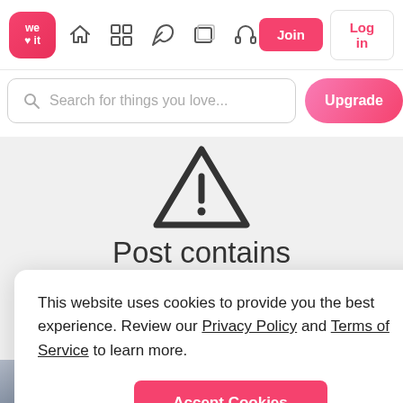[Figure (screenshot): We Heart It website navigation bar with logo, icons, Join and Log in buttons]
[Figure (screenshot): Search bar with placeholder 'Search for things you love...' and Upgrade button]
[Figure (screenshot): Warning triangle icon (exclamation mark) indicating post content warning]
Post contains
This website uses cookies to provide you the best experience. Review our Privacy Policy and Terms of Service to learn more.
Accept Cookies
Only users 16 years or older may use We Heart It.